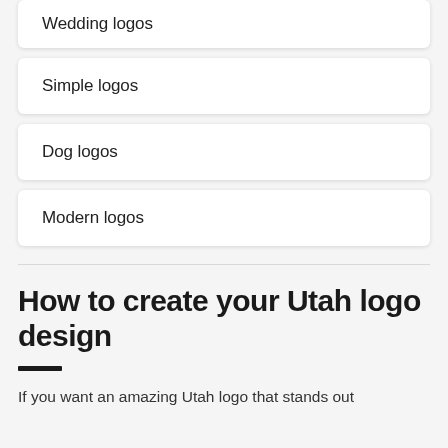Wedding logos
Simple logos
Dog logos
Modern logos
How to create your Utah logo design
If you want an amazing Utah logo that stands out